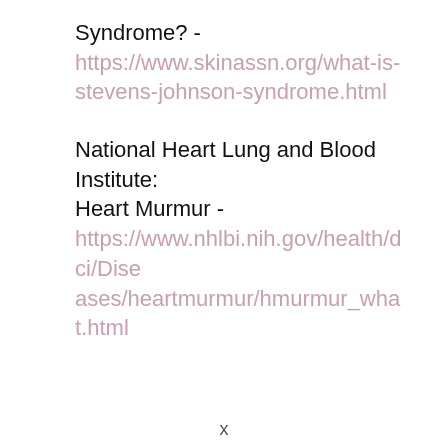Syndrome? - https://www.skinassn.org/what-is-stevens-johnson-syndrome.html
National Heart Lung and Blood Institute: Heart Murmur - https://www.nhlbi.nih.gov/health/dci/Diseases/heartmurmur/hmurmur_what.html
x